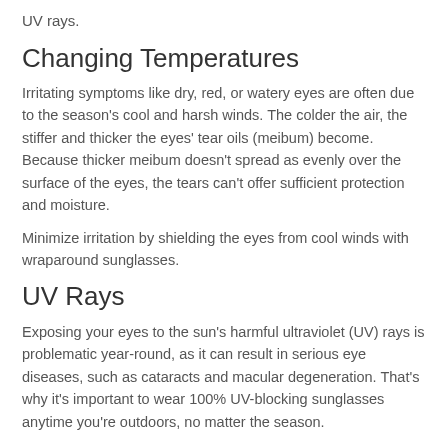UV rays.
Changing Temperatures
Irritating symptoms like dry, red, or watery eyes are often due to the season's cool and harsh winds. The colder the air, the stiffer and thicker the eyes' tear oils (meibum) become. Because thicker meibum doesn't spread as evenly over the surface of the eyes, the tears can't offer sufficient protection and moisture.
Minimize irritation by shielding the eyes from cool winds with wraparound sunglasses.
UV Rays
Exposing your eyes to the sun's harmful ultraviolet (UV) rays is problematic year-round, as it can result in serious eye diseases, such as cataracts and macular degeneration. That's why it's important to wear 100% UV-blocking sunglasses anytime you're outdoors, no matter the season.